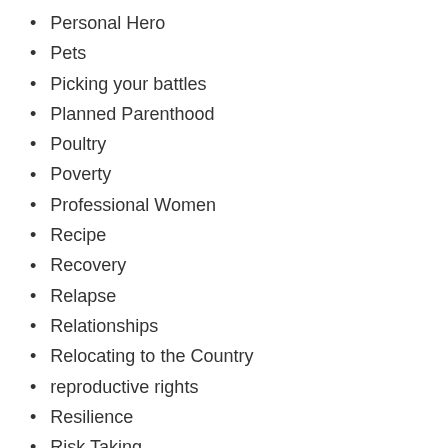Personal Hero
Pets
Picking your battles
Planned Parenthood
Poultry
Poverty
Professional Women
Recipe
Recovery
Relapse
Relationships
Relocating to the Country
reproductive rights
Resilience
Risk Taking
rural living
School lunch program
Self-image